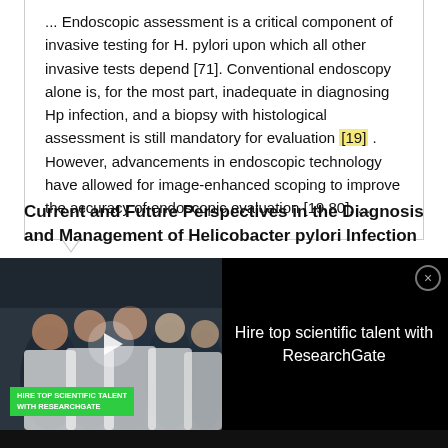... Endoscopic assessment is a critical component of invasive testing for H. pylori upon which all other invasive tests depend [71]. Conventional endoscopy alone is, for the most part, inadequate in diagnosing Hp infection, and a biopsy with histological assessment is still mandatory for evaluation [19]. However, advancements in endoscopic technology have allowed for image-enhanced scoping to improve the accuracy of endoscopic evaluation [19,80]. ...
Current and Future Perspectives in the Diagnosis and Management of Helicobacter pylori Infection
[Figure (screenshot): Advertisement overlay for ResearchGate job recruitment showing a photo of scientists in a lab with play button overlay and text 'Hire top scientific talent with ResearchGate'. Green label reads 'HIRE TOP SCIENTIFIC TALENT WITH RESEARCHGATE'.]